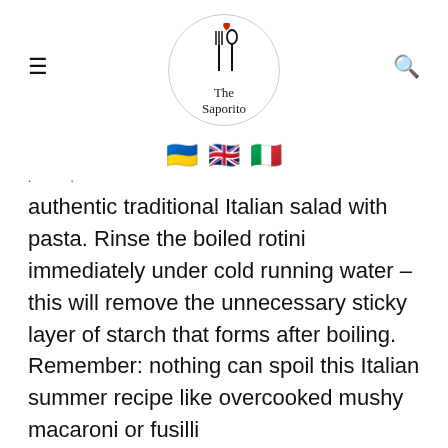The Saporito
[Figure (other): Three flags: Ukrainian flag, UK flag, Italian flag]
. . authentic traditional Italian salad with pasta. Rinse the boiled rotini immediately under cold running water – this will remove the unnecessary sticky layer of starch that forms after boiling. Remember: nothing can spoil this Italian summer recipe like overcooked mushy macaroni or fusilli